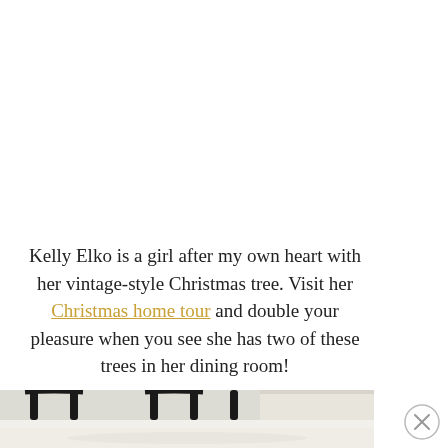Kelly Elko is a girl after my own heart with her vintage-style Christmas tree. Visit her Christmas home tour and double your pleasure when you see she has two of these trees in her dining room!
[Figure (photo): Partial photo of a dining room scene showing chair backs and a reflective floor surface]